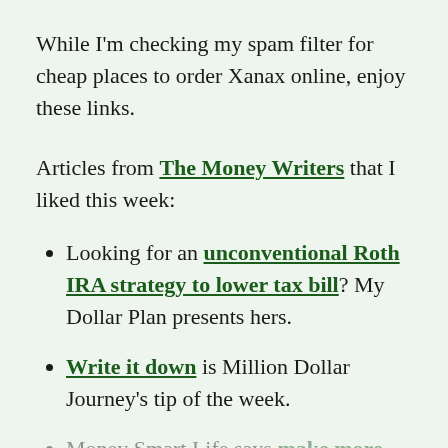While I'm checking my spam filter for cheap places to order Xanax online, enjoy these links.
Articles from The Money Writers that I liked this week:
Looking for an unconventional Roth IRA strategy to lower tax bill? My Dollar Plan presents hers.
Write it down is Million Dollar Journey's tip of the week.
Money Smart Life says make more money & be happy in your job using